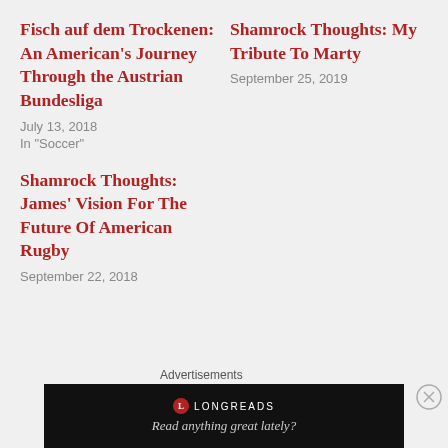Fisch auf dem Trockenen: An American's Journey Through the Austrian Bundesliga
July 13, 2018
In "Soccer"
Shamrock Thoughts: My Tribute To Marty
September 25, 2019
Shamrock Thoughts: James' Vision For The Future Of American Rugby
September 22, 2018
Advertisements
[Figure (other): Longreads advertisement banner with logo and tagline 'Read anything great lately?']